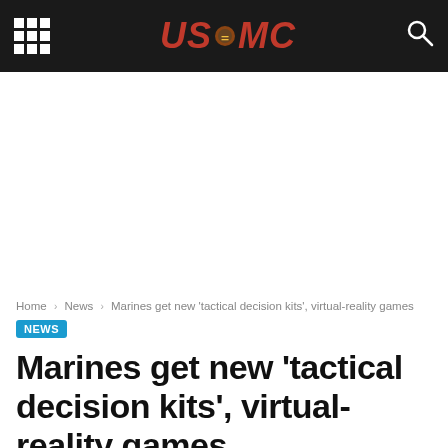US MC
Home › News › Marines get new 'tactical decision kits', virtual-reality games
NEWS
Marines get new 'tactical decision kits', virtual-reality games
May 21, 2017   200   0
Facebook   Twitter   G+   Pinterest   WhatsApp